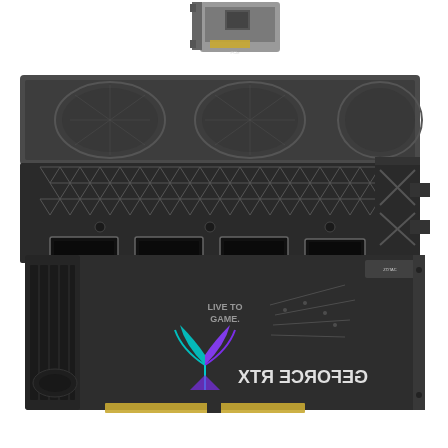[Figure (photo): Product photo showing three views of a ZOTAC GAMING GeForce RTX graphics card: top-left shows a small PCIe riser card or adapter, center shows the front/IO bracket side of the GPU with three DisplayPort and one HDMI output ports visible on a black metal backplate with triangular mesh cutout pattern, and bottom shows the rear/backplate of the GPU featuring the GEFORCE RTX branding (mirrored) in white text, a colorful LIVE TO GAME logo with an illuminated cyan/magenta palm tree design, gold PCIe connector edge, and dark metal backplate with ventilation fins.]